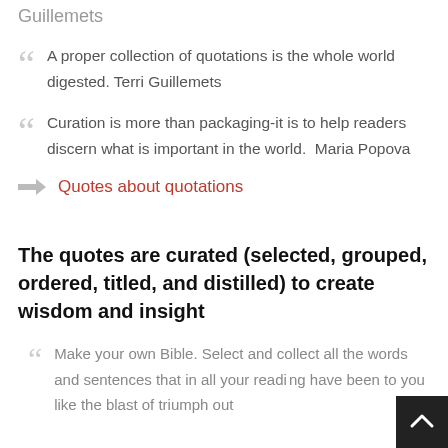Guillemets
A proper collection of quotations is the whole world digested. Terri Guillemets
Curation is more than packaging-it is to help readers discern what is important in the world.  Maria Popova
Quotes about quotations
The quotes are curated (selected, grouped, ordered, titled, and distilled) to create wisdom and insight
Make your own Bible. Select and collect all the words and sentences that in all your reading have been to you like the blast of triumph out